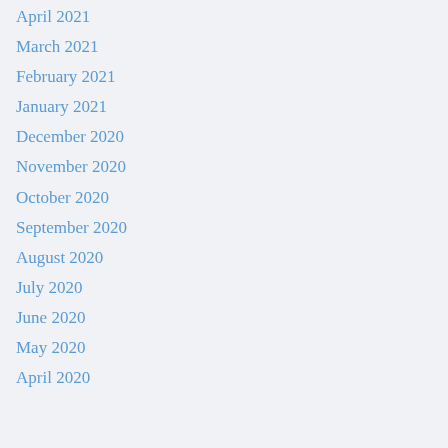April 2021
March 2021
February 2021
January 2021
December 2020
November 2020
October 2020
September 2020
August 2020
July 2020
June 2020
May 2020
April 2020